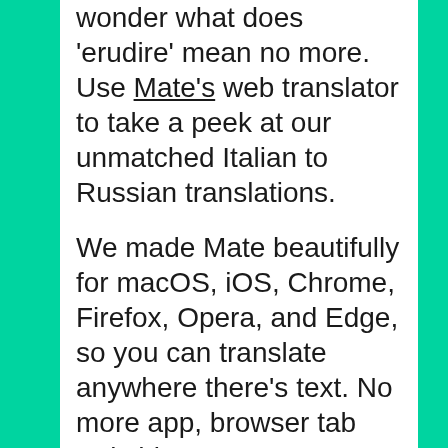wonder what does 'erudire' mean no more. Use Mate's web translator to take a peek at our unmatched Italian to Russian translations.
We made Mate beautifully for macOS, iOS, Chrome, Firefox, Opera, and Edge, so you can translate anywhere there's text. No more app, browser tab switching, or copy-pasting.
The most advanced machine translation power right where you need it. Effortlessly translate between Italian, Russian, and 101 other languages on any website